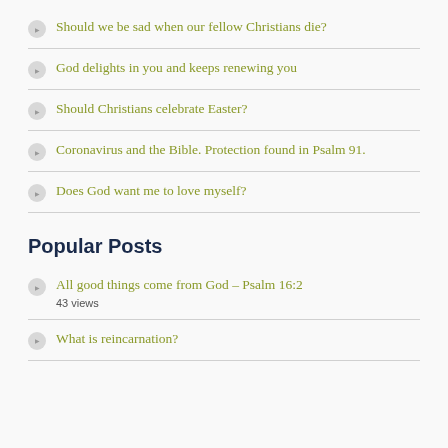Should we be sad when our fellow Christians die?
God delights in you and keeps renewing you
Should Christians celebrate Easter?
Coronavirus and the Bible. Protection found in Psalm 91.
Does God want me to love myself?
Popular Posts
All good things come from God – Psalm 16:2
43 views
What is reincarnation?